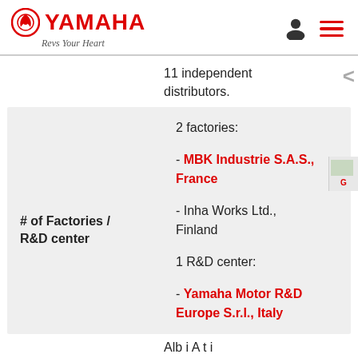YAMAHA Revs Your Heart
11 independent distributors.
| # of Factories / R&D center | Details |
| --- | --- |
| # of Factories / R&D center | 2 factories:
- MBK Industrie S.A.S., France
- Inha Works Ltd., Finland
1 R&D center:
- Yamaha Motor R&D Europe S.r.l., Italy |
Alb i A t i